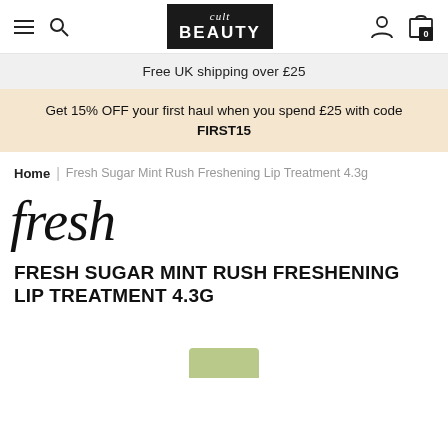[Figure (screenshot): Cult Beauty website navigation bar with hamburger menu, search icon, Cult Beauty logo, user account icon, and shopping bag with 0 items]
Free UK shipping over £25
Get 15% OFF your first haul when you spend £25 with code FIRST15
Home | Fresh Sugar Mint Rush Freshening Lip Treatment 4.3g
[Figure (logo): Fresh brand logo in italic script font]
FRESH SUGAR MINT RUSH FRESHENING LIP TREATMENT 4.3G
[Figure (photo): Partial product image of lip treatment at bottom of page]